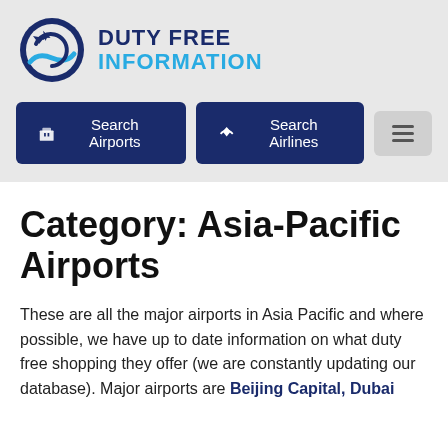[Figure (logo): Duty Free Information logo with circular arrow/plane icon in blue and teal, alongside text 'DUTY FREE INFORMATION']
Category: Asia-Pacific Airports
These are all the major airports in Asia Pacific and where possible, we have up to date information on what duty free shopping they offer (we are constantly updating our database). Major airports are Beijing Capital, Dubai